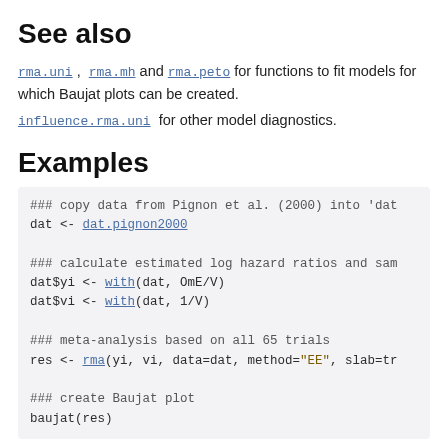See also
rma.uni, rma.mh and rma.peto for functions to fit models for which Baujat plots can be created.
influence.rma.uni for other model diagnostics.
Examples
### copy data from Pignon et al. (2000) into 'dat
dat <- dat.pignon2000

### calculate estimated log hazard ratios and sam
dat$yi <- with(dat, OmE/V)
dat$vi <- with(dat, 1/V)

### meta-analysis based on all 65 trials
res <- rma(yi, vi, data=dat, method="EE", slab=tr

### create Baujat plot
baujat(res)